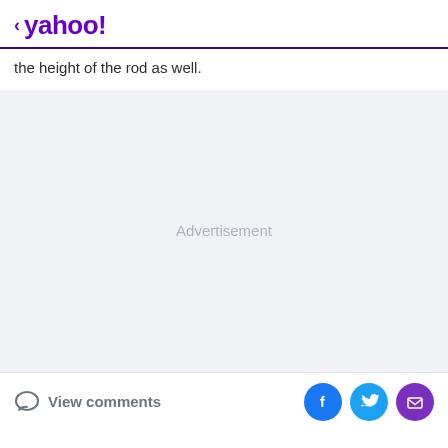< yahoo!
the height of the rod as well.
[Figure (other): Advertisement placeholder block with light gray background]
View comments | Social share buttons: Facebook, Twitter, Email